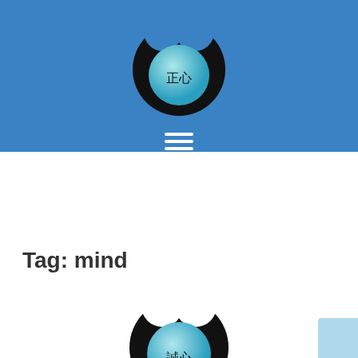[Figure (logo): Circular logo with black outer ring resembling two teardrops forming a circle, with a teal/cyan sphere inside containing Chinese characters 正心 (righteous mind)]
[Figure (illustration): Three horizontal white lines (hamburger menu icon)]
Tag: mind
[Figure (logo): Partial circular logo similar to the header logo, black outer ring with teal sphere inside containing Chinese characters 誠心 (sincere mind), partially cropped at bottom]